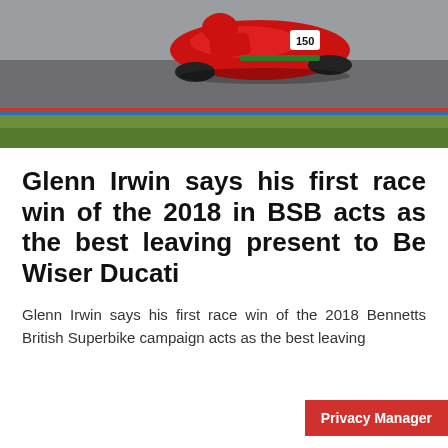[Figure (photo): A red motorcycle and rider racing on a track, aerial/dynamic shot showing the bike airborne slightly over a curb, with green grass and track tarmac visible below.]
Glenn Irwin says his first race win of the 2018 in BSB acts as the best leaving present to Be Wiser Ducati
Glenn Irwin says his first race win of the 2018 Bennetts British Superbike campaign acts as the best leaving